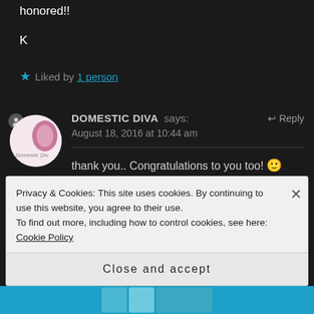honored!!
K
Liked by 1 person
DOMESTIC DIVA says: ↩ Reply
August 18, 2016 at 10:44 am
thank you.. Congratulations to you too! 🙂
Privacy & Cookies: This site uses cookies. By continuing to use this website, you agree to their use.
To find out more, including how to control cookies, see here: Cookie Policy
Close and accept